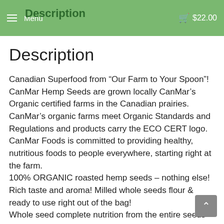Description | Menu | $22.00
Description
Canadian Superfood from “Our Farm to Your Spoon”! CanMar Hemp Seeds are grown locally CanMar’s Organic certified farms in the Canadian prairies. CanMar’s organic farms meet Organic Standards and Regulations and products carry the ECO CERT logo. CanMar Foods is committed to providing healthy, nutritious foods to people everywhere, starting right at the farm.
100% ORGANIC roasted hemp seeds – nothing else! Rich taste and aroma! Milled whole seeds flour & ready to use right out of the bag!
Whole seed complete nutrition from the entire seeds providing 100% nutrition from the original seed in every spoon: very high fibre, plant- based protein, iron and other trace minerals, healthy oils